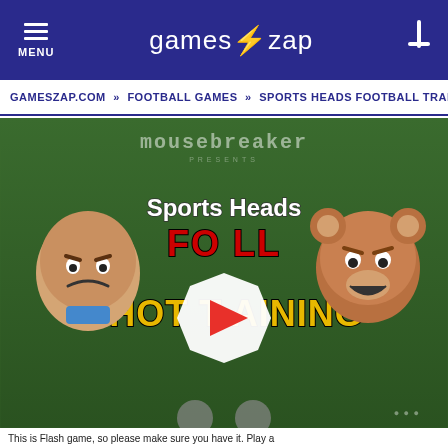MENU | gameszap | [search]
GAMESZAP.COM » FOOTBALL GAMES » SPORTS HEADS FOOTBALL TRAINING
[Figure (screenshot): Sports Heads Football Shot Training game thumbnail with mousebreaker logo at top, two cartoon character heads (player and bear), large title text 'Sports Heads FOOTBALL SHOT TRAINING' on green field background, with a play button overlay in the center]
This is Flash game, so please make sure you have it. Play a